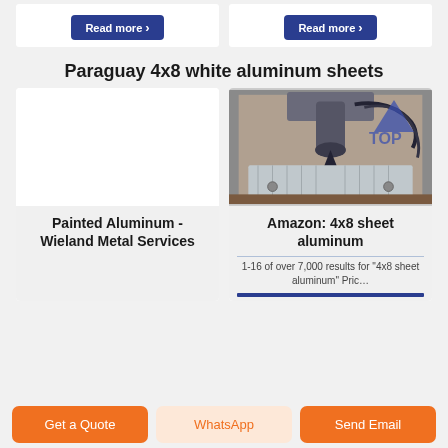[Figure (screenshot): Two 'Read more' buttons (dark blue) inside white cards on a light gray background, partially visible at the top of the page.]
Paraguay 4x8 white aluminum sheets
[Figure (photo): Left card: white/blank card area for Painted Aluminum - Wieland Metal Services]
[Figure (photo): Right card: CNC milling machine cutting an aluminum sheet, photo from Amazon 4x8 sheet aluminum listing]
Painted Aluminum - Wieland Metal Services
Amazon: 4x8 sheet aluminum
1-16 of over 7,000 results for "4x8 sheet aluminum" Pric…
Get a Quote
WhatsApp
Send Email